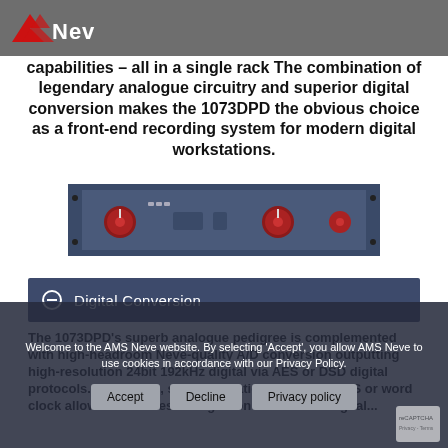[Figure (logo): AMS Neve logo with red chevron/lightning bolt mark and 'Neve' wordmark in white on dark background]
capabilities – all in a single rack The combination of legendary analogue circuitry and superior digital conversion makes the 1073DPD the obvious choice as a front-end recording system for modern digital workstations.
[Figure (photo): Photo of the Neve 1073DPD hardware unit — a 1U rack-mount device with blue/steel panel, red rotary knobs, switches and meters]
Digital Conversion
The 1073DPD's superb analogue pedigree is complemented with high-headroom Neve-quality A/D conversion outputting high-resolution 24bit 192kHz digital via AES or DSD digital protocols. In addition, synchronization points via AES or word clock allow for seamless integration to a host of digital...